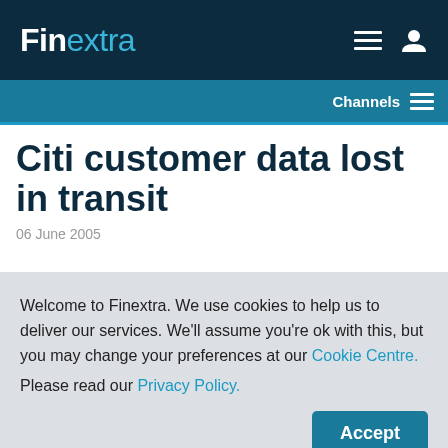Finextra
Channels
Citi customer data lost in transit
06 June 2005
Welcome to Finextra. We use cookies to help us to deliver our services. We'll assume you're ok with this, but you may change your preferences at our Cookie Centre. Please read our Privacy Policy.